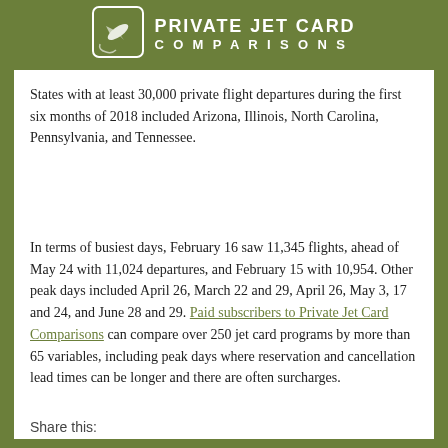[Figure (logo): Private Jet Card Comparisons logo — green banner with airplane icon and text PRIVATE JET CARD COMPARISONS in white uppercase letters]
States with at least 30,000 private flight departures during the first six months of 2018 included Arizona, Illinois, North Carolina, Pennsylvania, and Tennessee.
In terms of busiest days, February 16 saw 11,345 flights, ahead of May 24 with 11,024 departures, and February 15 with 10,954. Other peak days included April 26, March 22 and 29, April 26, May 3, 17 and 24, and June 28 and 29. Paid subscribers to Private Jet Card Comparisons can compare over 250 jet card programs by more than 65 variables, including peak days where reservation and cancellation lead times can be longer and there are often surcharges.
Share this: